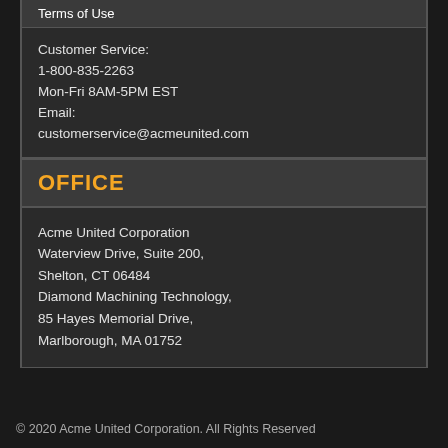Terms of Use
Customer Service:
1-800-835-2263
Mon-Fri 8AM-5PM EST
Email:
customerservice@acmeunited.com
OFFICE
Acme United Corporation
Waterview Drive, Suite 200,
Shelton, CT 06484
Diamond Machining Technology,
85 Hayes Memorial Drive,
Marlborough, MA 01752
© 2020 Acme United Corporation. All Rights Reserved